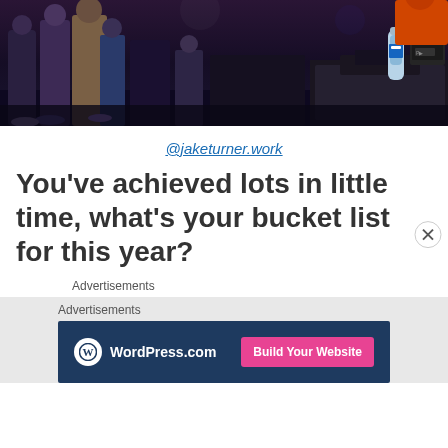[Figure (photo): Dark nightclub/event scene with crowd of people, DJ equipment visible on the right side with a water bottle, dark moody lighting]
@jaketurner.work
You've achieved lots in little time, what's your bucket list for this year?
Advertisements
Advertisements
[Figure (screenshot): WordPress.com advertisement banner with dark blue background, WordPress logo, and a pink 'Build Your Website' button]